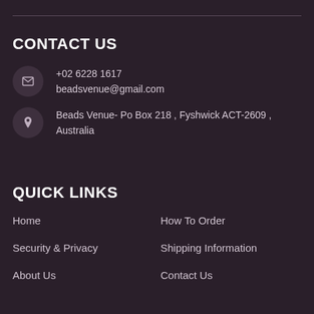CONTACT US
+02 6228 1617
beadsvenue@gmail.com
Beads Venue- Po Box 218 , Fyshwick ACT-2609 , Australia
QUICK LINKS
Home
How To Order
Security & Privacy
Shipping Information
About Us
Contact Us